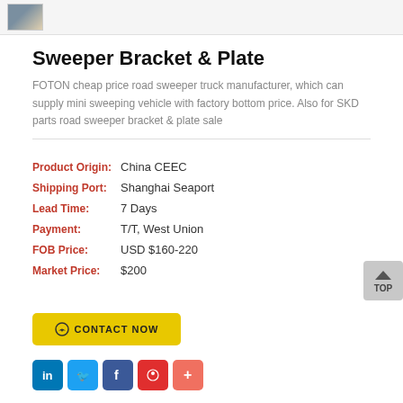[Figure (photo): Small thumbnail image of a road sweeper truck, shown in the top image bar area]
Sweeper Bracket & Plate
FOTON cheap price road sweeper truck manufacturer, which can supply mini sweeping vehicle with factory bottom price. Also for SKD parts road sweeper bracket & plate sale
Product Origin:   China CEEC
Shipping Port:   Shanghai Seaport
Lead Time:   7 Days
Payment:   T/T, West Union
FOB Price:   USD $160-220
Market Price:   $200
[Figure (other): CONTACT NOW button in yellow]
[Figure (other): Social media share buttons: LinkedIn, Twitter, Facebook, Weibo, plus button]